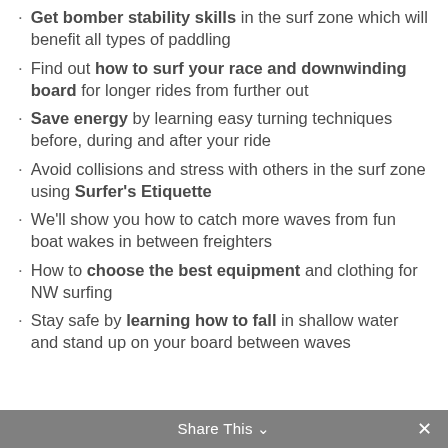Get bomber stability skills in the surf zone which will benefit all types of paddling
Find out how to surf your race and downwinding board for longer rides from further out
Save energy by learning easy turning techniques before, during and after your ride
Avoid collisions and stress with others in the surf zone using Surfer's Etiquette
We'll show you how to catch more waves from fun boat wakes in between freighters
How to choose the best equipment and clothing for NW surfing
Stay safe by learning how to fall in shallow water and stand up on your board between waves
Share This ✓  ✕